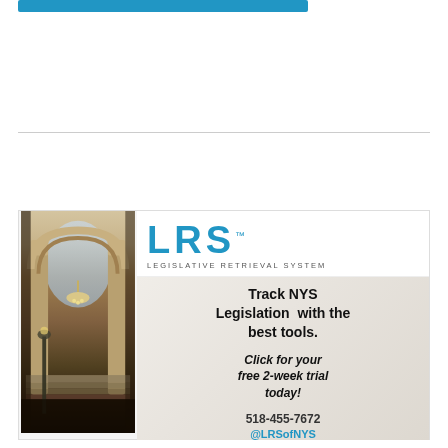[Figure (other): Blue banner/button at top of page]
[Figure (infographic): LRS - Legislative Retrieval System advertisement. Left side shows photo of ornate Capitol building interior with arched columns and chandelier. Right side shows LRS logo and text: Track NYS Legislation with the best tools. Click for your free 2-week trial today! 518-455-7672 @LRSofNYS]